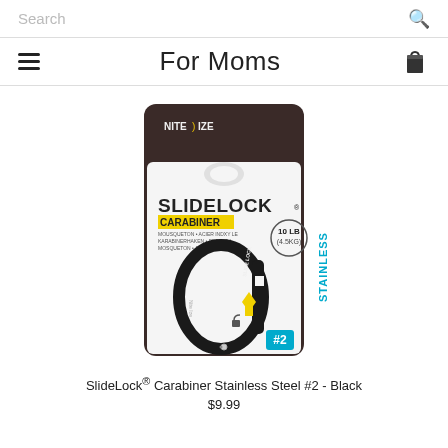Search
For Moms
[Figure (photo): Product photo of Nite Ize SlideLock Carabiner Stainless Steel #2 in Black, showing the retail packaging with the black carabiner. Package shows 'SLIDELOCK CARABINER', 10 LB (4.5KG) rating, and #2 STAINLESS label.]
SlideLock® Carabiner Stainless Steel #2 - Black
$9.99